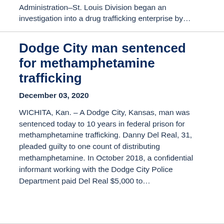Administration–St. Louis Division began an investigation into a drug trafficking enterprise by…
Dodge City man sentenced for methamphetamine trafficking
December 03, 2020
WICHITA, Kan. – A Dodge City, Kansas, man was sentenced today to 10 years in federal prison for methamphetamine trafficking. Danny Del Real, 31, pleaded guilty to one count of distributing methamphetamine. In October 2018, a confidential informant working with the Dodge City Police Department paid Del Real $5,000 to…